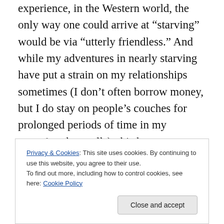experience, in the Western world, the only way one could arrive at “starving” would be via “utterly friendless.” And while my adventures in nearly starving have put a strain on my relationships sometimes (I don’t often borrow money, but I do stay on people’s couches for prolonged periods of time in my recurring dry spells), this has never gone into friendless territory. People with non-art jobs have all the food in the world, in my experience. In fact, you can pretty much make a three-course meal in the kitchen of a gainfully employed person without them ever knowing that
Privacy & Cookies: This site uses cookies. By continuing to use this website, you agree to their use.
To find out more, including how to control cookies, see here: Cookie Policy
Close and accept